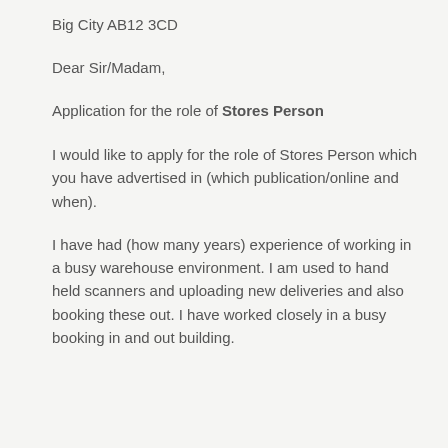Big City AB12 3CD
Dear Sir/Madam,
Application for the role of Stores Person
I would like to apply for the role of Stores Person which you have advertised in (which publication/online and when).
I have had (how many years) experience of working in a busy warehouse environment. I am used to hand held scanners and uploading new deliveries and also booking these out. I have worked closely in a busy booking in and out building.